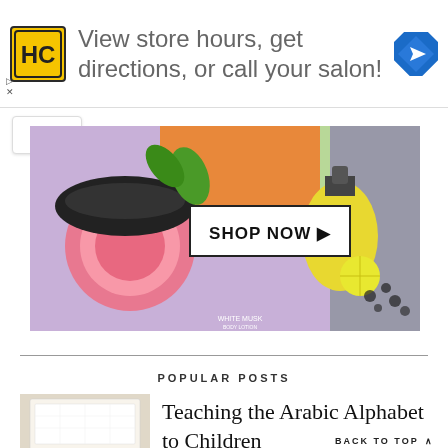[Figure (other): Advertisement banner: HC yellow logo, text 'View store hours, get directions, or call your salon!', blue navigation diamond icon]
[Figure (other): Shop Now advertisement banner with beauty/cosmetics products on colorful background, white SHOP NOW button with arrow]
POPULAR POSTS
[Figure (photo): Child learning Arabic alphabet with colorful activity book showing colored dots and Arabic letters]
Teaching the Arabic Alphabet to Children
BACK TO TOP ^